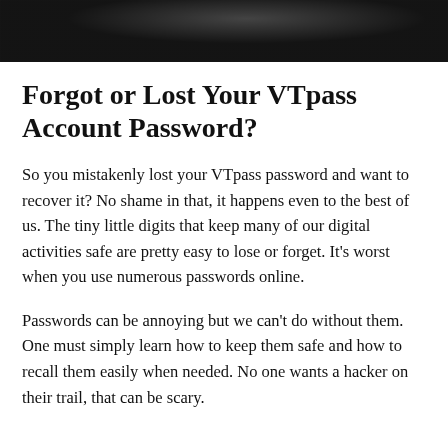[Figure (photo): Dark background image at the top of the page, partially visible]
Forgot or Lost Your VTpass Account Password?
So you mistakenly lost your VTpass password and want to recover it? No shame in that, it happens even to the best of us. The tiny little digits that keep many of our digital activities safe are pretty easy to lose or forget. It's worst when you use numerous passwords online.
Passwords can be annoying but we can't do without them. One must simply learn how to keep them safe and how to recall them easily when needed. No one wants a hacker on their trail, that can be scary.